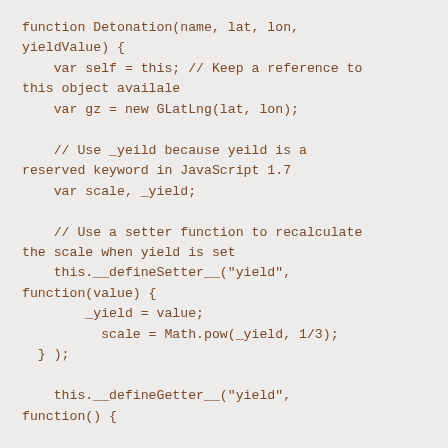function Detonation(name, lat, lon, yieldValue) {
    var self = this; // Keep a reference to this object availale
    var gz = new GLatLng(lat, lon);

    // Use _yeild because yeild is a reserved keyword in JavaScript 1.7
    var scale, _yield;

    // Use a setter function to recalculate the scale when yield is set
    this.__defineSetter__("yield", function(value) {
        _yield = value;
          scale = Math.pow(_yield, 1/3);
  } );

    this.__defineGetter__("yield", function() {